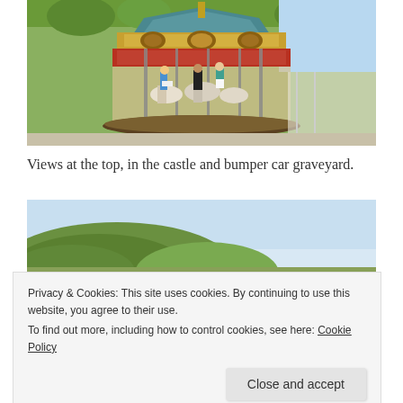[Figure (photo): A colorful vintage carousel with ornate gold decorations and people riding horses at an amusement park, surrounded by trees.]
Views at the top, in the castle and bumper car graveyard.
[Figure (photo): A landscape photo showing a green hill under a pale blue sky, likely taken from an elevated viewpoint at an amusement park.]
Privacy & Cookies: This site uses cookies. By continuing to use this website, you agree to their use.
To find out more, including how to control cookies, see here: Cookie Policy
[Figure (photo): Colorful amusement park rides partially visible at the bottom of the page.]